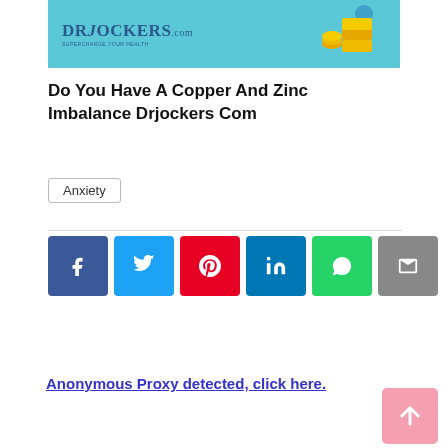[Figure (illustration): DrJockers.com website header image with logo on teal background and gold coins/boxes illustration on the right]
Do You Have A Copper And Zinc Imbalance Drjockers Com
Anxiety
[Figure (infographic): Social sharing buttons: Facebook, Twitter, Pinterest, LinkedIn, WhatsApp, Email]
Anonymous Proxy detected, click here.